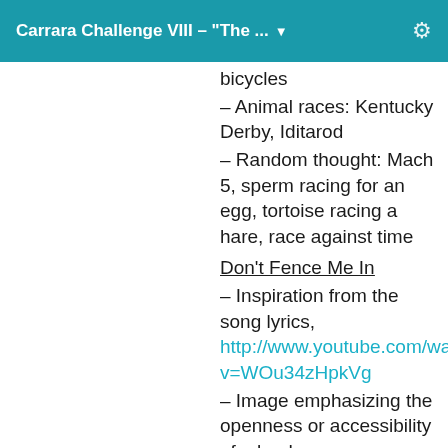Carrara Challenge VIII – "The ...
bicycles
– Animal races: Kentucky Derby, Iditarod
– Random thought: Mach 5, sperm racing for an egg, tortoise racing a hare, race against time
Don't Fence Me In
– Inspiration from the song lyrics, http://www.youtube.com/watch?v=WOu34zHpkVg
– Image emphasizing the openness or accessibility of a landscape
– Allegory for personal relationships (suitor being